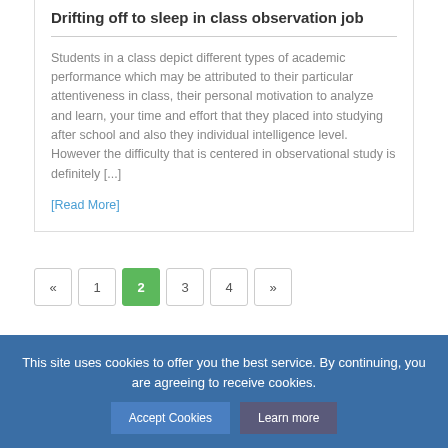Drifting off to sleep in class observation job
Students in a class depict different types of academic performance which may be attributed to their particular attentiveness in class, their personal motivation to analyze and learn, your time and effort that they placed into studying after school and also they individual intelligence level. However the difficulty that is centered in observational study is definitely [...]
[Read More]
« 1 2 3 4 »
This site uses cookies to offer you the best service. By continuing, you are agreeing to receive cookies.